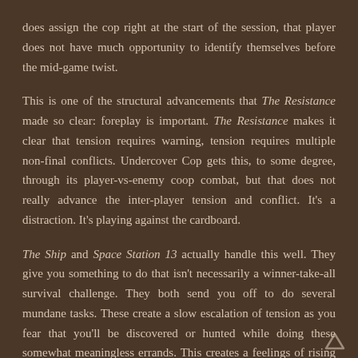does assign the cop right at the start of the session, that player does not have much opportunity to identify themselves before the mid-game twist.
This is one of the structural advancements that The Resistance made so clear: foreplay is important. The Resistance makes it clear that tension requires warning, tension requires multiple non-final conflicts. Undercover Cop gets this, to some degree, through its player-vs-enemy coop combat, but that does not really advance the inter-player tension and conflict. It's a distraction. It's playing against the cardboard.
The Ship and Space Station 13 actually handle this well. They give you something to do that isn't necessarily a winner-take-all survival challenge. They both send you off to do several mundane tasks. These create a slow escalation of tension as you fear that you'll be discovered or hunted while doing these somewhat meaningless errands. This creates a feelings of rising tension and provides opportunities for players to interact in isolation.